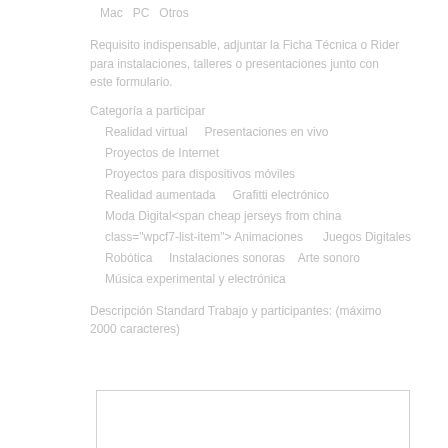Mac   PC   Otros
Requisito indispensable, adjuntar la Ficha Técnica o Rider para instalaciones, talleres o presentaciones junto con este formulario.
Categoría a participar
Realidad virtual    Presentaciones en vivo
Proyectos de Internet
Proyectos para dispositivos móviles
Realidad aumentada    Grafitti electrónico
Moda Digital<span cheap jerseys from china class="wpcf7-list-item"> Animaciones     Juegos Digitales
Robótica    Instalaciones sonoras    Arte sonoro
Música experimental y electrónica
Descripción Standard Trabajo y participantes: (máximo 2000 caracteres)